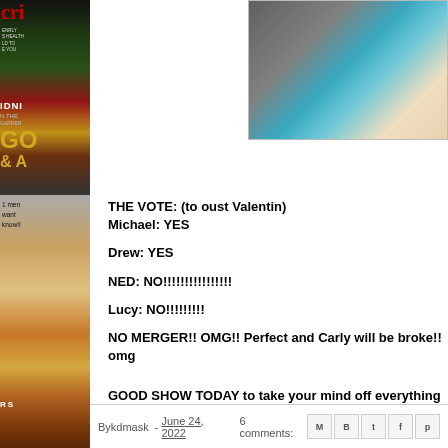[Figure (photo): Left sidebar with magazine covers including red crime magazine and entertainment awards photos]
[Figure (photo): Top right photo of a blonde woman in a teal/blue top, cropped close-up]
THE VOTE: (to oust Valentin)
Michael: YES

Drew: YES

NED: NO!!!!!!!!!!!!!!!!

Lucy: NO!!!!!!!!!

NO MERGER!! OMG!! Perfect and Carly will be broke!! omg


GOOD SHOW TODAY to take your mind off everything goin
By kdmask - June 24, 2022   6 comments: